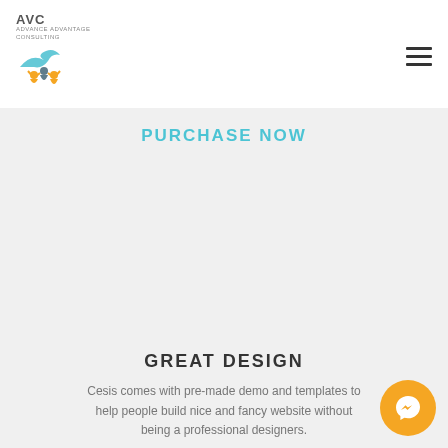[Figure (logo): AVC logo with colorful figures icon and text]
PURCHASE NOW
GREAT DESIGN
Cesis comes with pre-made demo and templates to help people build nice and fancy website without being a professional designers.